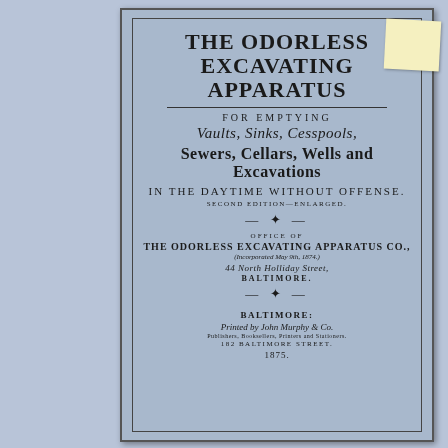The Odorless Excavating Apparatus
FOR EMPTYING
Vaults, Sinks, Cesspools,
Sewers, Cellars, Wells and Excavations
IN THE DAYTIME WITHOUT OFFENSE.
SECOND EDITION—ENLARGED.
OFFICE OF
THE ODORLESS EXCAVATING APPARATUS CO.,
(Incorporated May 9th, 1874.)
44 North Holliday Street,
BALTIMORE.
BALTIMORE:
Printed by John Murphy & Co.
Publishers, Booksellers, Printers and Stationers.
182 Baltimore Street.
1875.